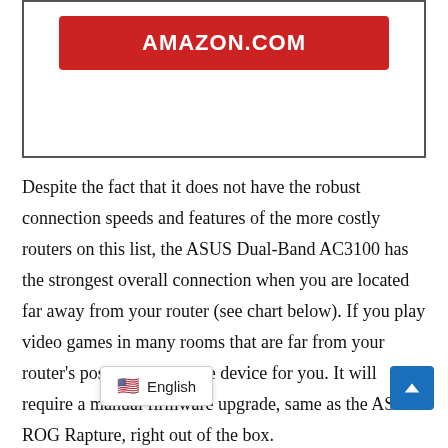[Figure (other): A bordered white box containing a red button labeled AMAZON.COM]
Despite the fact that it does not have the robust connection speeds and features of the more costly routers on this list, the ASUS Dual-Band AC3100 has the strongest overall connection when you are located far away from your router (see chart below). If you play video games in many rooms that are far from your router's position, this is the device for you. It will require a manual firmware upgrade, same as the ASUS ROG Rapture, right out of the box.